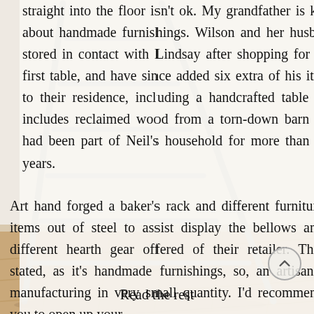straight into the floor isn't ok. My grandfather is keen about handmade furnishings. Wilson and her husband stored in contact with Lindsay after shopping for that first table, and have since added six extra of his items to their residence, including a handcrafted table that includes reclaimed wood from a torn-down barn that had been part of Neil's household for more than 200 years.
[Figure (photo): A metal step ladder leaning against a wall, with a wooden parquet floor visible at the bottom.]
Art hand forged a baker's rack and different furniture items out of steel to assist display the bellows and different hearth gear offered of their retailer. That stated, as it's handmade furnishings, so, an artisanal manufacturing in very small quantity. I'd recommend you to open up your ...
Read the rest